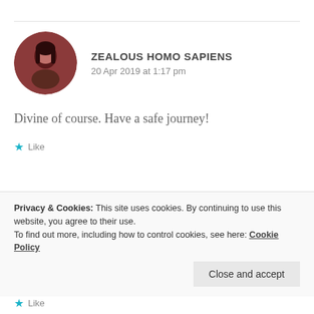ZEALOUS HOMO SAPIENS
20 Apr 2019 at 1:17 pm
Divine of course. Have a safe journey!
Like
Privacy & Cookies: This site uses cookies. By continuing to use this website, you agree to their use. To find out more, including how to control cookies, see here: Cookie Policy
Close and accept